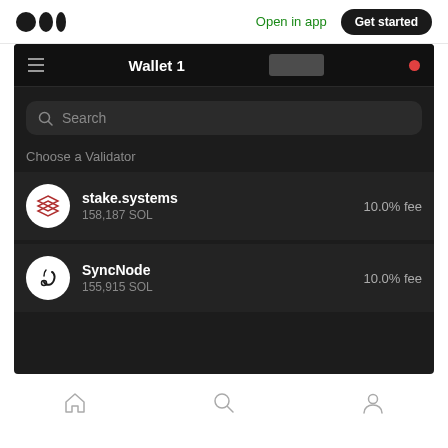Open in app  Get started
Wallet 1
Search
Choose a Validator
stake.systems  158,187 SOL  10.0% fee
SyncNode  155,915 SOL  10.0% fee